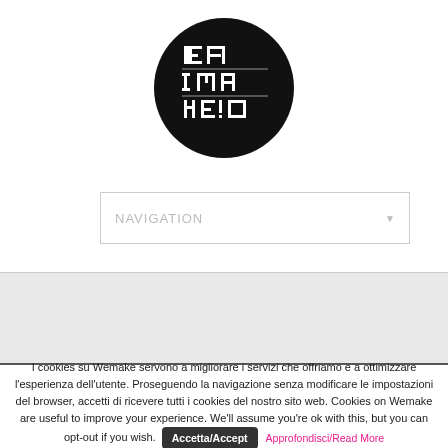[Figure (logo): Wemake logo: black circle with stylized white geometric text spelling WE MAKE]
NAVIGATION
I cookies su Wemake servono a migliorare i servizi che offriamo e a ottimizzare l'esperienza dell'utente. Proseguendo la navigazione senza modificare le impostazioni del browser, accetti di ricevere tutti i cookies del nostro sito web. Cookies on Wemake are useful to improve your experience. We'll assume you're ok with this, but you can opt-out if you wish. Accetta/Accept Approfondisci/Read More